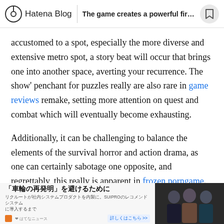Hatena Blog | The game creates a powerful first...
accustomed to a spot, especially the more diverse and extensive metro spot, a story beat will occur that brings one into another space, averting your recurrence. The show' penchant for puzzles really are also rare in game reviews remake, setting more attention on quest and combat which will eventually become exhausting.
Additionally, it can be challenging to balance the elements of the survival horror and action drama, as one can certainly sabotage one opposite, and regrettably, this really is apparent in frozen porngame. There are a number of moments where the game's strengths such as
[Figure (screenshot): Advertisement banner in Japanese: '車輪の再発明」を避けるために' with subtext and a photo of three people on the right side against a dark background.]